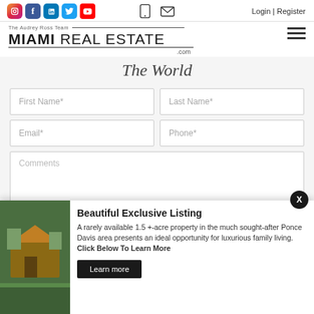The Audrey Ross Team MIAMI REAL ESTATE .com | Login | Register
The World
[Figure (screenshot): Web form with fields: First Name*, Last Name*, Email*, Phone*, Comments]
Beautiful Exclusive Listing
A rarely available 1.5 +-acre property in the much sought-after Ponce Davis area presents an ideal opportunity for luxurious family living. Click Below To Learn More
Learn more